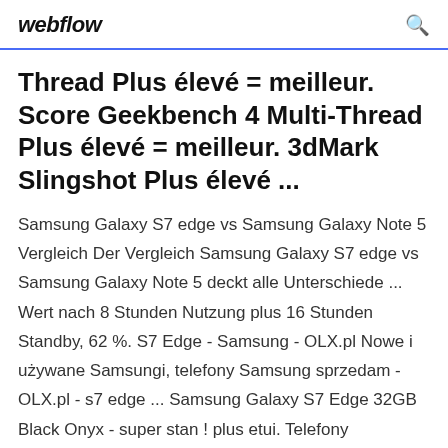webflow
Thread Plus élevé = meilleur. Score Geekbench 4 Multi-Thread Plus élevé = meilleur. 3dMark Slingshot Plus élevé ...
Samsung Galaxy S7 edge vs Samsung Galaxy Note 5 Vergleich Der Vergleich Samsung Galaxy S7 edge vs Samsung Galaxy Note 5 deckt alle Unterschiede ... Wert nach 8 Stunden Nutzung plus 16 Stunden Standby, 62 %. S7 Edge - Samsung - OLX.pl Nowe i używane Samsungi, telefony Samsung sprzedam - OLX.pl - s7 edge ... Samsung Galaxy S7 Edge 32GB Black Onyx - super stan ! plus etui. Telefony komórkowe » Samsung, 749 zł. Do negocjacji